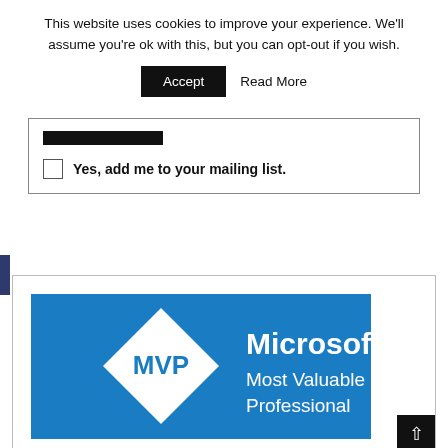This website uses cookies to improve your experience. We'll assume you're ok with this, but you can opt-out if you wish.
Accept  Read More
[Figure (screenshot): Partially visible form with a dark bar and a checkbox row saying 'Yes, add me to your mailing list.']
[Figure (logo): Microsoft MVP - Most Valuable Professional logo on a blue background with white diamond shape and MVP text]